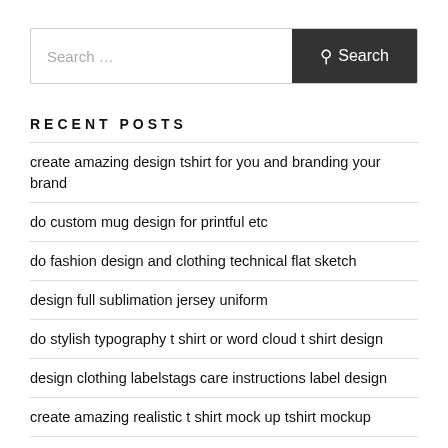Search …
RECENT POSTS
create amazing design tshirt for you and branding your brand
do custom mug design for printful etc
do fashion design and clothing technical flat sketch
design full sublimation jersey uniform
do stylish typography t shirt or word cloud t shirt design
design clothing labelstags care instructions label design
create amazing realistic t shirt mock up tshirt mockup